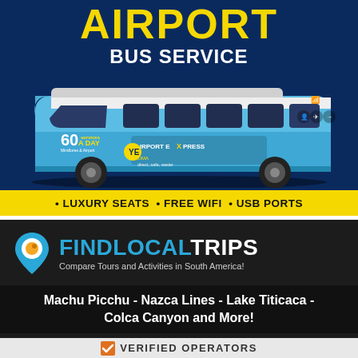[Figure (advertisement): Airport Bus Service advertisement showing a blue luxury bus (Airport Express Lima) with '60 A DAY' text on the side, on a dark blue background]
AIRPORT BUS SERVICE
• LUXURY SEATS • FREE WIFI • USB PORTS
[Figure (advertisement): FindLocalTrips advertisement on dark background with location pin logo, showing 'FINDLOCALTRIPS - Compare Tours and Activities in South America!']
Machu Picchu - Nazca Lines - Lake Titicaca - Colca Canyon and More!
VERIFIED OPERATORS